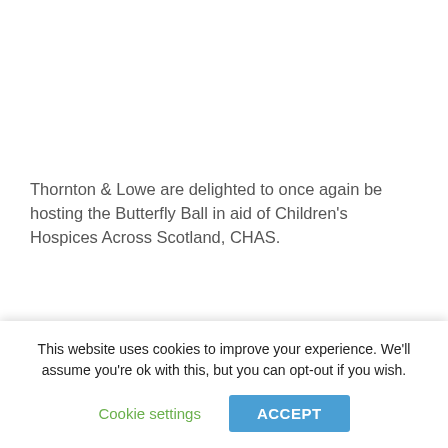Thornton & Lowe are delighted to once again be hosting the Butterfly Ball in aid of Children's Hospices Across Scotland, CHAS.
This wonderful charity recently launched the Keep...
This website uses cookies to improve your experience. We'll assume you're ok with this, but you can opt-out if you wish.